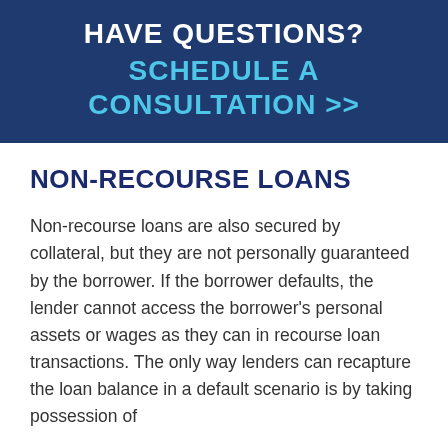[Figure (infographic): Dark navy blue banner with text: HAVE QUESTIONS? SCHEDULE A CONSULTATION >>]
NON-RECOURSE LOANS
Non-recourse loans are also secured by collateral, but they are not personally guaranteed by the borrower. If the borrower defaults, the lender cannot access the borrower's personal assets or wages as they can in recourse loan transactions. The only way lenders can recapture the loan balance in a default scenario is by taking possession of